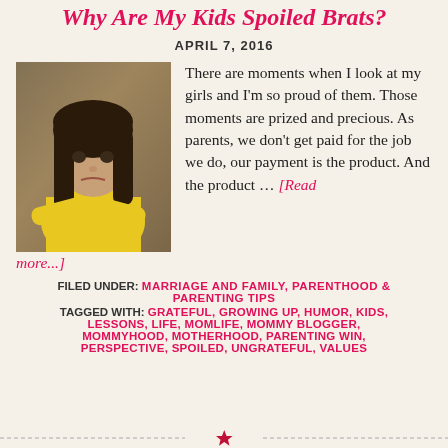Why Are My Kids Spoiled Brats?
APRIL 7, 2016
[Figure (photo): Photo of a young girl with dark hair wearing a yellow top, making an angry/pouty face]
There are moments when I look at my girls and I'm so proud of them. Those moments are prized and precious. As parents, we don't get paid for the job we do, our payment is the product. And the product … [Read more...]
FILED UNDER: MARRIAGE AND FAMILY, PARENTHOOD & PARENTING TIPS
TAGGED WITH: GRATEFUL, GROWING UP, HUMOR, KIDS, LESSONS, LIFE, MOMLIFE, MOMMY BLOGGER, MOMMYHOOD, MOTHERHOOD, PARENTING WIN, PERSPECTIVE, SPOILED, UNGRATEFUL, VALUES